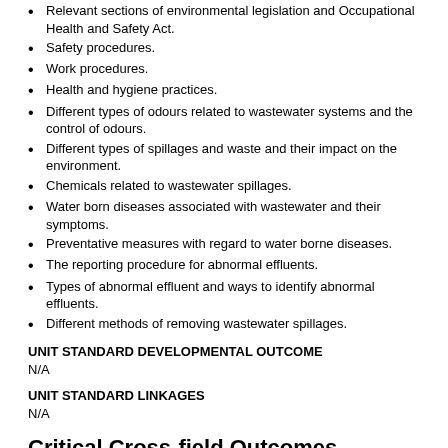Relevant sections of environmental legislation and Occupational Health and Safety Act.
Safety procedures.
Work procedures.
Health and hygiene practices.
Different types of odours related to wastewater systems and the control of odours.
Different types of spillages and waste and their impact on the environment.
Chemicals related to wastewater spillages.
Water born diseases associated with wastewater and their symptoms.
Preventative measures with regard to water borne diseases.
The reporting procedure for abnormal effluents.
Types of abnormal effluent and ways to identify abnormal effluents.
Different methods of removing wastewater spillages.
UNIT STANDARD DEVELOPMENTAL OUTCOME
N/A
UNIT STANDARD LINKAGES
N/A
Critical Cross-field Outcomes (CCFO):
UNIT STANDARD CCFO IDENTIFYING
Identify and solve problems in which responses display that responsible decisions using critical and creative thinking have been made.